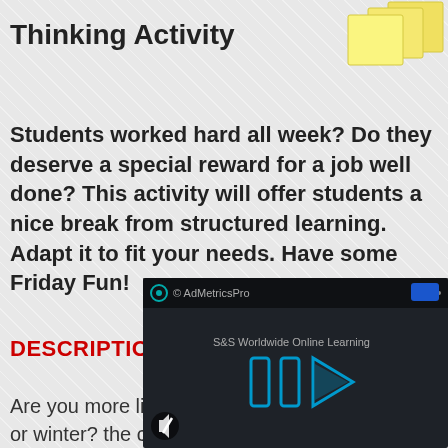Thinking Activity
[Figure (illustration): Yellow sticky notes illustration in upper right corner]
Students worked hard all week? Do they deserve a special reward for a job well done? This activity will offer students a nice break from structured learning. Adapt it to fit your needs. Have some Friday Fun!
DESCRIPTION
Are you more like a rock or a feather? summer or winter? the city or the country? Which word pairs best describe your personality, your mood? The idea behind this very simple activity came from teacher Dick Full...
[Figure (screenshot): Video player overlay showing AdMetricsPro branding and S&S Worldwide Online Learning, with blue play button arrows and mute icon]